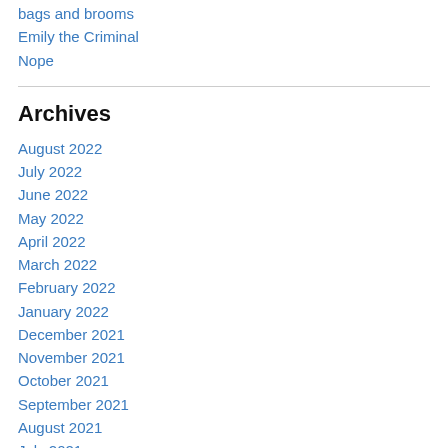bags and brooms
Emily the Criminal
Nope
Archives
August 2022
July 2022
June 2022
May 2022
April 2022
March 2022
February 2022
January 2022
December 2021
November 2021
October 2021
September 2021
August 2021
July 2021